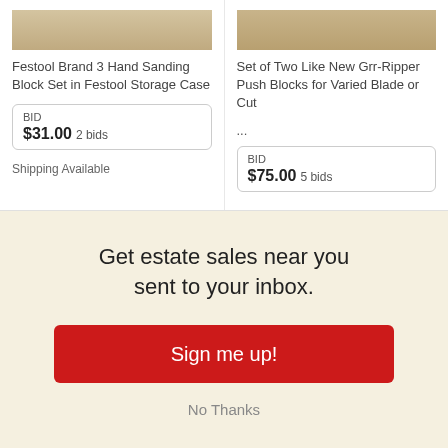[Figure (photo): Product image of Festool Brand 3 Hand Sanding Block Set]
Festool Brand 3 Hand Sanding Block Set in Festool Storage Case
BID
$31.00 2 bids
Shipping Available
[Figure (photo): Product image of Grr-Ripper Push Blocks]
Set of Two Like New Grr-Ripper Push Blocks for Varied Blade or Cut
...
BID
$75.00 5 bids
Get estate sales near you sent to your inbox.
Sign me up!
No Thanks